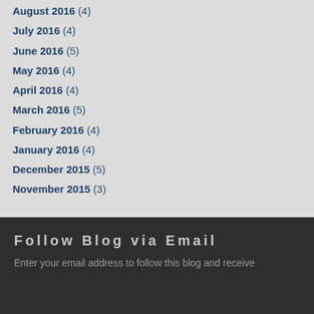August 2016 (4)
July 2016 (4)
June 2016 (5)
May 2016 (4)
April 2016 (4)
March 2016 (5)
February 2016 (4)
January 2016 (4)
December 2015 (5)
November 2015 (3)
Follow Blog via Email
Enter your email address to follow this blog and receive